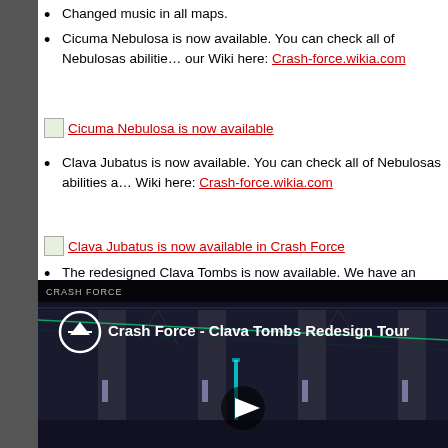Changed music in all maps.
Cicuma Nebulosa is now available. You can check all of Nebulosas abilities and our Wiki here: Crash-force.wikia.com
[Figure (screenshot): Image link: Cicuma Nebulosa is now available]
Clava Jubatus is now available. You can check all of Nebulosas abilities and Wiki here: Crash-force.wikia.com
[Figure (screenshot): Image link: Clava Jubatus is now available in Crash Force]
The redesigned Clava Tombs is now available. We have an array of in-game video:
[Figure (screenshot): YouTube video embed: Crash Force - Clava Tombs Redesign Tour. Shows a dark sci-fi interior environment with neon accents and a play button overlay.]